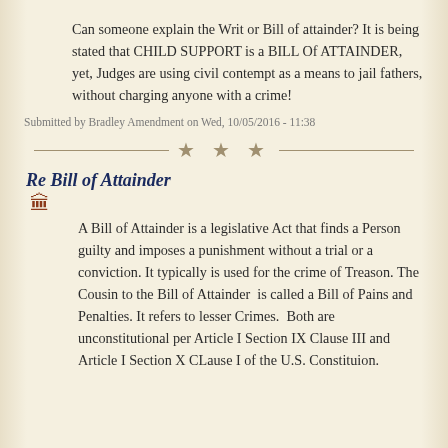Can someone explain the Writ or Bill of attainder? It is being stated that CHILD SUPPORT is a BILL Of ATTAINDER, yet, Judges are using civil contempt as a means to jail fathers, without charging anyone with a crime!
Submitted by Bradley Amendment on Wed, 10/05/2016 - 11:38
Re Bill of Attainder
A Bill of Attainder is a legislative Act that finds a Person guilty and imposes a punishment without a trial or a conviction. It typically is used for the crime of Treason. The Cousin to the Bill of Attainder  is called a Bill of Pains and Penalties. It refers to lesser Crimes.  Both are unconstitutional per Article I Section IX Clause III and Article I Section X CLause I of the U.S. Constituion.